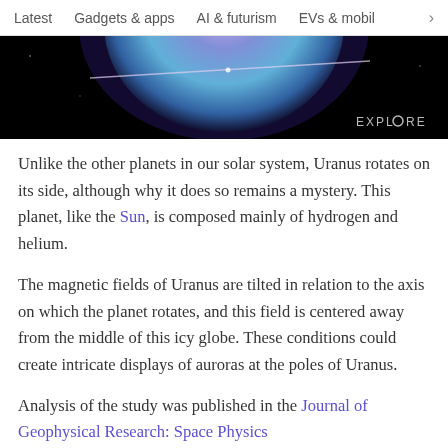Latest  Gadgets & apps  AI & futurism  EVs & mobil  >
[Figure (photo): Photo of Uranus planet glowing in blue and purple hues against a black background, with the word EXPLORE overlaid in the bottom right corner.]
Unlike the other planets in our solar system, Uranus rotates on its side, although why it does so remains a mystery. This planet, like the Sun, is composed mainly of hydrogen and helium.
The magnetic fields of Uranus are tilted in relation to the axis on which the planet rotates, and this field is centered away from the middle of this icy globe. These conditions could create intricate displays of auroras at the poles of Uranus.
Analysis of the study was published in the Journal of Geophysical Research: Space Physics